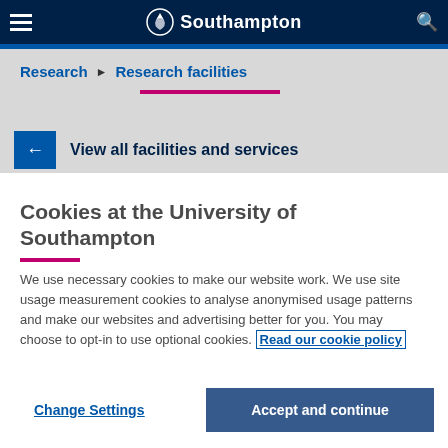University of Southampton — Navigation bar with hamburger menu, logo, and search icon
Research ▶ Research facilities
← View all facilities and services
Cookies at the University of Southampton
We use necessary cookies to make our website work. We use site usage measurement cookies to analyse anonymised usage patterns and make our websites and advertising better for you. You may choose to opt-in to use optional cookies. Read our cookie policy
Change Settings
Accept and continue